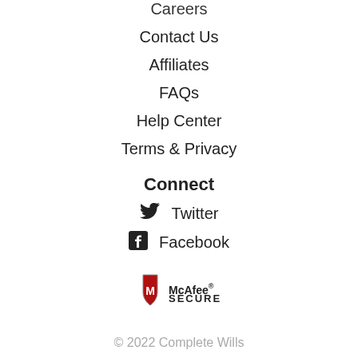Careers
Contact Us
Affiliates
FAQs
Help Center
Terms & Privacy
Connect
Twitter
Facebook
[Figure (logo): McAfee SECURE badge with red shield and M logo]
© 2022  Complete Wills